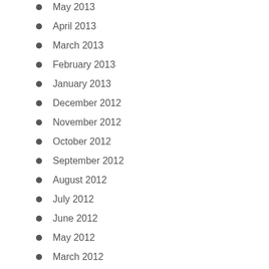May 2013
April 2013
March 2013
February 2013
January 2013
December 2012
November 2012
October 2012
September 2012
August 2012
July 2012
June 2012
May 2012
March 2012